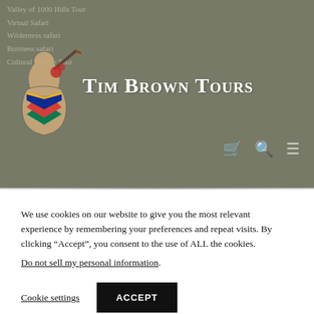[Figure (logo): Tim Brown Tours logo with African figure and South Africa flag]
Tim Brown Tours
We use cookies on our website to give you the most relevant experience by remembering your preferences and repeat visits. By clicking “Accept”, you consent to the use of ALL the cookies.
Do not sell my personal information.
Cookie settings | ACCEPT